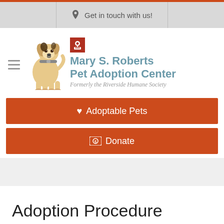Get in touch with us!
[Figure (logo): Mary S. Roberts Pet Adoption Center logo with dog illustration and text: Mary S. Roberts Pet Adoption Center, Formerly the Riverside Humane Society]
♥ Adoptable Pets
Donate
Adoption Procedure